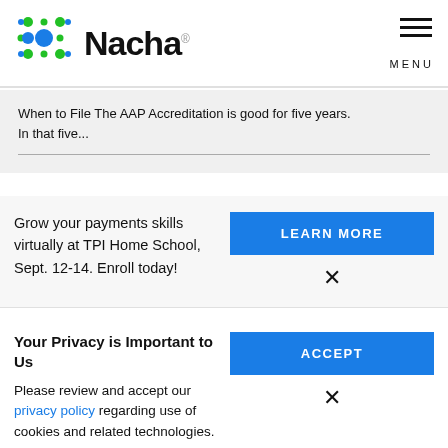Nacha
When to File The AAP Accreditation is good for five years. In that five...
Grow your payments skills virtually at TPI Home School, Sept. 12-14. Enroll today!
LEARN MORE
Your Privacy is Important to Us
Please review and accept our privacy policy regarding use of cookies and related technologies.
ACCEPT